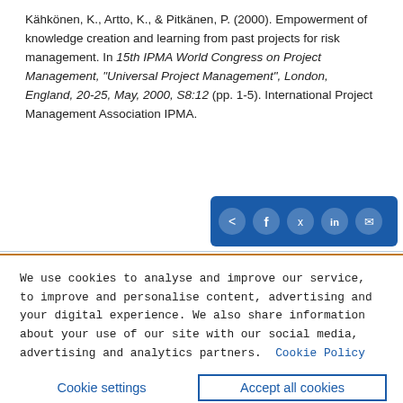Kähkönen, K., Artto, K., & Pitkänen, P. (2000). Empowerment of knowledge creation and learning from past projects for risk management. In 15th IPMA World Congress on Project Management, "Universal Project Management", London, England, 20-25, May, 2000, S8:12 (pp. 1-5). International Project Management Association IPMA.
[Figure (other): Social share buttons bar with icons for share, Facebook, Twitter, LinkedIn, and email on a blue background]
We use cookies to analyse and improve our service, to improve and personalise content, advertising and your digital experience. We also share information about your use of our site with our social media, advertising and analytics partners.  Cookie Policy
Cookie settings    Accept all cookies